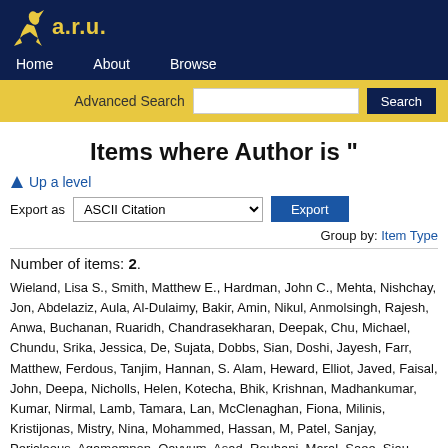a.r.u. | Home | About | Browse
Advanced Search [search box] Search
Items where Author is "
Up a level
Export as ASCII Citation  Export
Group by: Item Type
Number of items: 2.
Wieland, Lisa S., Smith, Matthew E., Hardman, John C., Mehta, Nishchay, Jon, Abdelaziz, Aula, Al-Dulaimy, Bakir, Amin, Nikul, Anmolsingh, Rajesh, Anwa, Buchanan, Ruaridh, Chandrasekharan, Deepak, Chu, Michael, Chundu, Srika, Jessica, De, Sujata, Dobbs, Sian, Doshi, Jayesh, Farr, Matthew, Ferdous, Tanjim, Hannan, S. Alam, Heward, Elliot, Javed, Faisal, John, Deepa, Nicholls, Helen, Kotecha, Bhik, Krishnan, Madhankumar, Kumar, Nirmal, Lamb, Tamara, Lam, McClenaghan, Fiona, Milinis, Kristijonas, Mistry, Nina, Mohammed, Hassan, M, Patel, Sanjay, Pericleous, Agamemnon, Qayyum, Asad, Rouhani, Maral, Saee, Siau, Richard, Singh, Arvind, Stapleton, Emma, Stephenson, Kate, Stynes, Gi, Aaron, Tse, Antonia, Twumasi, Emmanuel, Ubhi, Harmony, Unadkat, Samit, V